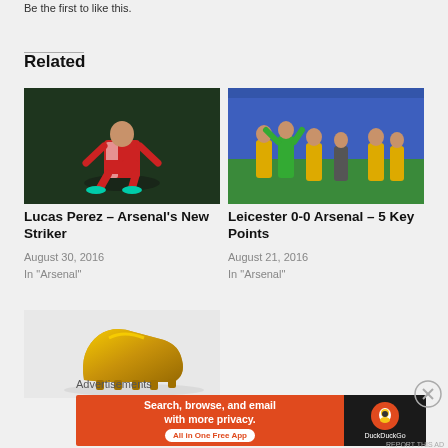Be the first to like this.
Related
[Figure (photo): Lucas Perez in Arsenal kit crouching on a dark background]
Lucas Perez – Arsenal's New Striker
August 30, 2016
In "Arsenal"
[Figure (photo): Arsenal players in yellow kit on a football pitch, Leicester vs Arsenal]
Leicester 0-0 Arsenal – 5 Key Points
August 21, 2016
In "Arsenal"
[Figure (photo): Golden football boot on light background]
Advertisements
[Figure (screenshot): DuckDuckGo advertisement banner: Search, browse, and email with more privacy. All in One Free App.]